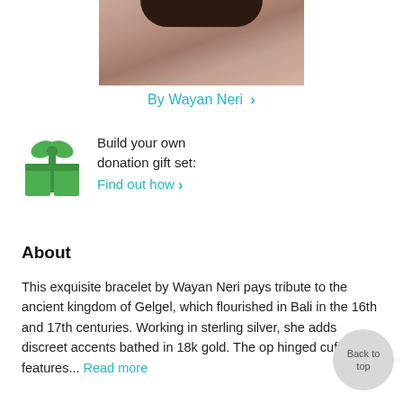[Figure (photo): Partial photo of a person wearing a brown/tan short-sleeve shirt, cropped at the shoulders/chest area]
By Wayan Neri >
[Figure (illustration): Green gift box icon with bow]
Build your own donation gift set: Find out how >
About
This exquisite bracelet by Wayan Neri pays tribute to the ancient kingdom of Gelgel, which flourished in Bali in the 16th and 17th centuries. Working in sterling silver, she adds discreet accents bathed in 18k gold. The op hinged cuff features... Read more